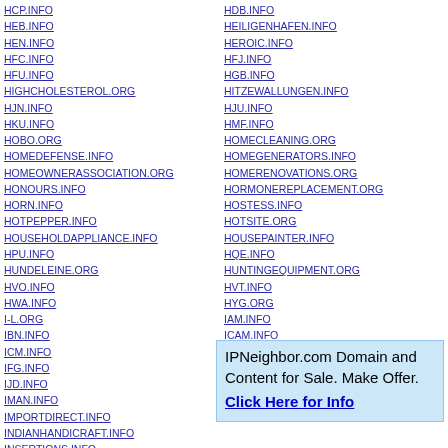HCP.INFO
HEB.INFO
HEN.INFO
HFC.INFO
HFU.INFO
HIGHCHOLESTEROL.ORG
HJN.INFO
HKU.INFO
HOBO.ORG
HOMEDEFENSE.INFO
HOMEOWNERASSOCIATION.ORG
HONOURS.INFO
HORN.INFO
HOTPEPPER.INFO
HOUSEHOLDAPPLIANCE.INFO
HPU.INFO
HUNDELEINE.ORG
HVO.INFO
HWA.INFO
I-L.ORG
IBN.INFO
ICM.INFO
IFG.INFO
IJD.INFO
IMAN.INFO
IMPORTDIRECT.INFO
INDIANHANDICRAFT.INFO
INSERTIONS.INFO
HDB.INFO
HEILIGENHAFEN.INFO
HEROIC.INFO
HFJ.INFO
HGB.INFO
HITZEWALLUNGEN.INFO
HJU.INFO
HMF.INFO
HOMECLEANING.ORG
HOMEGENERATORS.INFO
HOMERENOVATIONS.ORG
HORMONEREPLACEMENT.ORG
HOSTESS.INFO
HOTSITE.ORG
HOUSEPAINTER.INFO
HQE.INFO
HUNTINGEQUIPMENT.ORG
HVT.INFO
HYG.ORG
IAM.INFO
ICAM.INFO
IEM.INFO
IFS.INFO
IPNeighbor.com Domain and Content for Sale. Make Offer. Click Here for Info